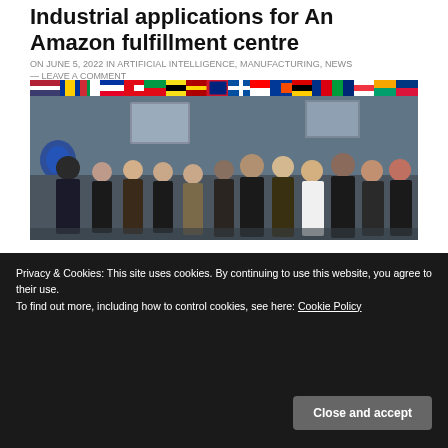Industrial applications for An Amazon fulfillment centre
ON JUNE 5, 2022 IN ARTIFICIAL INTELLIGENCE, MANUFACTURING, NEWS — LEAVE A COMMENT
[Figure (photo): Group photo of approximately 12 people standing indoors, with colorful international flags decorating the ceiling/background. A TV screen is visible on the wall. The group includes men and women in business attire.]
Privacy & Cookies: This site uses cookies. By continuing to use this website, you agree to their use.
To find out more, including how to control cookies, see here: Cookie Policy
Close and accept